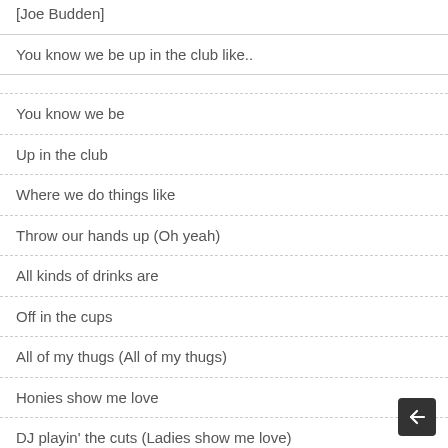[Joe Budden]
You know we be up in the club like..
You know we be
Up in the club
Where we do things like
Throw our hands up (Oh yeah)
All kinds of drinks are
Off in the cups
All of my thugs (All of my thugs)
Honies show me love
DJ playin' the cuts (Ladies show me love)
Up in the club
Where we do things like